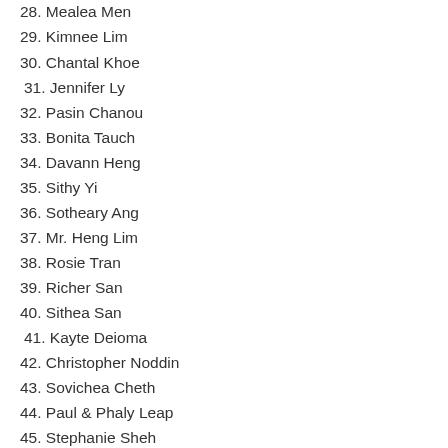28. Mealea Men
29. Kimnee Lim
30. Chantal Khoe
31. Jennifer Ly
32. Pasin Chanou
33. Bonita Tauch
34. Davann Heng
35. Sithy Yi
36. Sotheary Ang
37. Mr. Heng Lim
38. Rosie Tran
39. Richer San
40. Sithea San
41. Kayte Deioma
42. Christopher Noddin
43. Sovichea Cheth
44. Paul & Phaly Leap
45. Stephanie Sheh